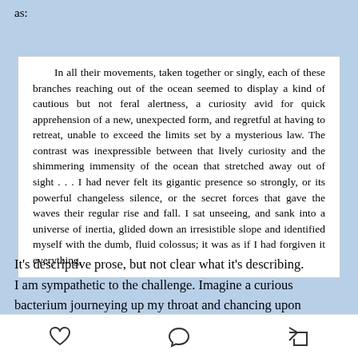as:
[Figure (screenshot): White box containing a block quote in serif font: 'In all their movements, taken together or singly, each of these branches reaching out of the ocean seemed to display a kind of cautious but not feral alertness, a curiosity avid for quick apprehension of a new, unexpected form, and regretful at having to retreat, unable to exceed the limits set by a mysterious law. The contrast was inexpressible between that lively curiosity and the shimmering immensity of the ocean that stretched away out of sight ... I had never felt its gigantic presence so strongly, or its powerful changeless silence, or the secret forces that gave the waves their regular rise and fall. I sat unseeing, and sank into a universe of inertia, glided down an irresistible slope and identified myself with the dumb, fluid colossus; it was as if I had forgiven it everything,']
It's descriptive prose, but not clear what it's describing. I am sympathetic to the challenge. Imagine a curious bacterium journeying up my throat and chancing upon
♡  ○  ↪